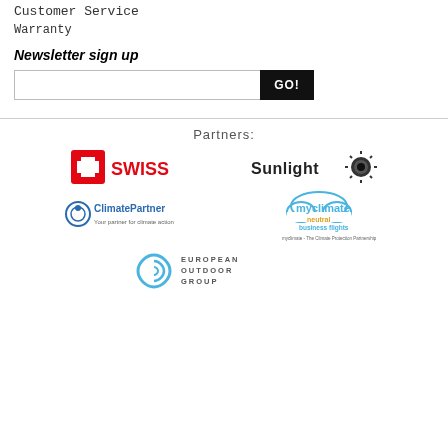Customer Service
Warranty
Newsletter sign up
[Figure (other): Newsletter email input field with GO! button]
Partners:
[Figure (logo): SWISS airline logo with red cross]
[Figure (logo): Sunlight logo with sun icon]
[Figure (logo): ClimatePartner logo]
[Figure (logo): myclimate neutral business flights logo]
[Figure (logo): European Outdoor Group logo]